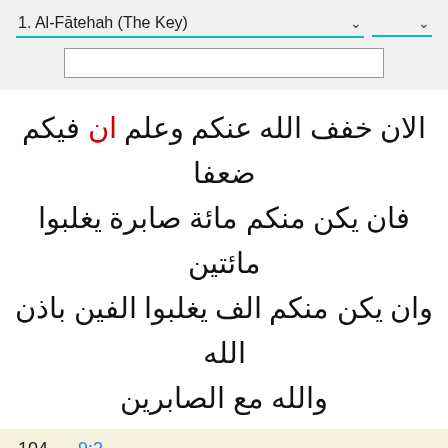1. Al-Fātehah (The Key)
الان خفف الله عنكم وعلم ان فيكم ضعفا فان يكن منكم مائة صابرة يغلبوا مائتين وان يكن منكم الف يغلبوا الفين باذن الله والله مع الصابرين
104   9:2
[Announce unto them:] "Go, then, [freely] about the earth for four months* -but know that you can never elude God, and that, verily, God shall bring disgrace upon all who refuse to acknowledge the truth!"